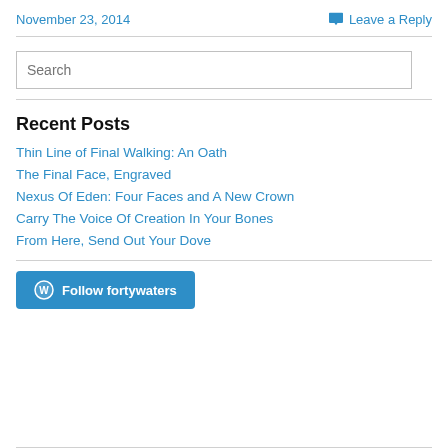November 23, 2014
Leave a Reply
Search
Recent Posts
Thin Line of Final Walking: An Oath
The Final Face, Engraved
Nexus Of Eden: Four Faces and A New Crown
Carry The Voice Of Creation In Your Bones
From Here, Send Out Your Dove
Follow fortywaters